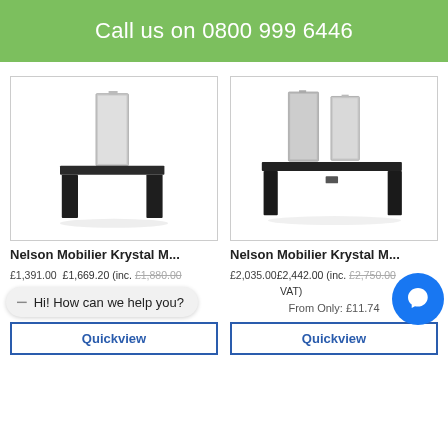Call us on 0800 999 6446
[Figure (photo): Nelson Mobilier Krystal M single mirror station with black base]
[Figure (photo): Nelson Mobilier Krystal M double mirror station with black base]
Nelson Mobilier Krystal M...
Nelson Mobilier Krystal M...
£1,391.00  £1,669.20 (inc.  £1,880.00 VAT)
£2,035.00£2,442.00 (inc.  £2,750.00 VAT)
From Only: £8.03
From Only: £11.74
Hi! How can we help you?
Quickview
Quickview